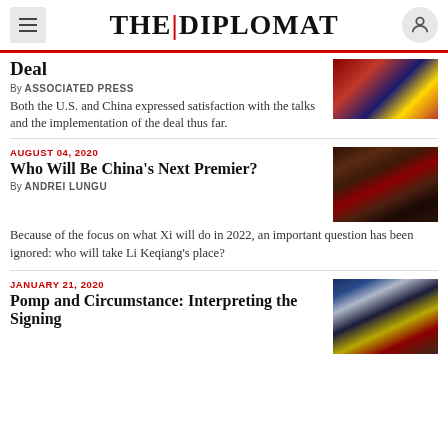THE DIPLOMAT
Deal
By ASSOCIATED PRESS
Both the U.S. and China expressed satisfaction with the talks and the implementation of the deal thus far.
AUGUST 04, 2020
Who Will Be China's Next Premier?
[Figure (photo): Chinese political figures at formal event]
By ANDREI LUNGU
Because of the focus on what Xi will do in 2022, an important question has been ignored: who will take Li Keqiang's place?
JANUARY 21, 2020
Pomp and Circumstance: Interpreting the Signing
[Figure (photo): Signing ceremony with US and Chinese flags]